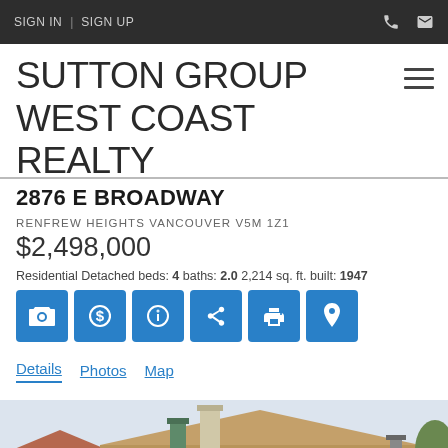SIGN IN | SIGN UP
SUTTON GROUP WEST COAST REALTY
2876 E BROADWAY
RENFREW HEIGHTS VANCOUVER V5M 1Z1
$2,498,000
Residential Detached beds: 4 baths: 2.0 2,214 sq. ft. built: 1947
Details | Photos | Map
[Figure (photo): Exterior photo of a residential detached home at 2876 E Broadway, Vancouver, showing rooftop with chimney stacks against a light grey sky.]